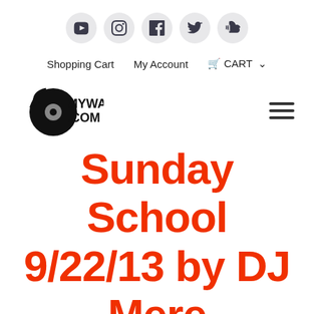Social media icons: YouTube, Instagram, Facebook, Twitter, SoundCloud
Shopping Cart   My Account   CART
[Figure (logo): MYWAYDJ.COM logo with vinyl record icon and hamburger menu]
Sunday School 9/22/13 by DJ Mere